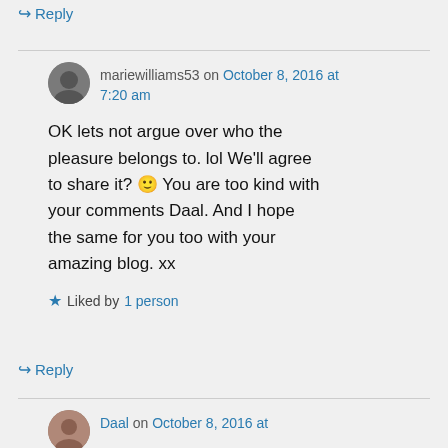↳ Reply
mariewilliams53 on October 8, 2016 at 7:20 am
OK lets not argue over who the pleasure belongs to. lol We'll agree to share it? 🙂 You are too kind with your comments Daal. And I hope the same for you too with your amazing blog. xx
Liked by 1 person
↳ Reply
Daal on October 8, 2016 at